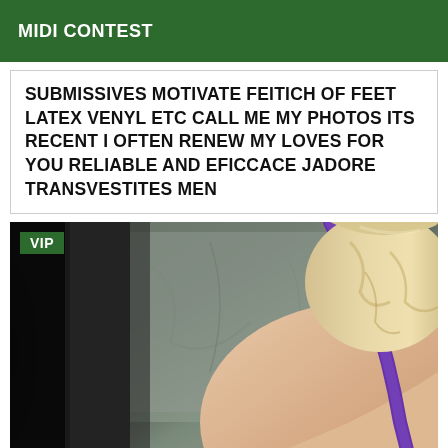MIDI CONTEST
SUBMISSIVES MOTIVATE FEITICH OF FEET LATEX VENYL ETC CALL ME MY PHOTOS ITS RECENT I OFTEN RENEW MY LOVES FOR YOU RELIABLE AND EFICCACE JADORE TRANSVESTITES MEN
[Figure (photo): VIP labeled photo showing a person with blonde wavy hair and purple strap, lying on grey bedding, viewed from behind/side angle]